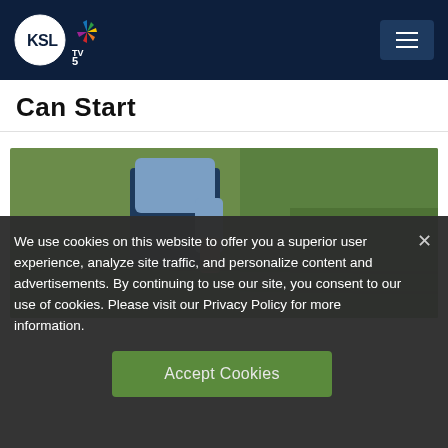KSL TV 5 NBC
Can Start
[Figure (photo): Outdoor photo of a person in jeans and blue shirt bending over on a green grassy field]
We use cookies on this website to offer you a superior user experience, analyze site traffic, and personalize content and advertisements. By continuing to use our site, you consent to our use of cookies. Please visit our Privacy Policy for more information.